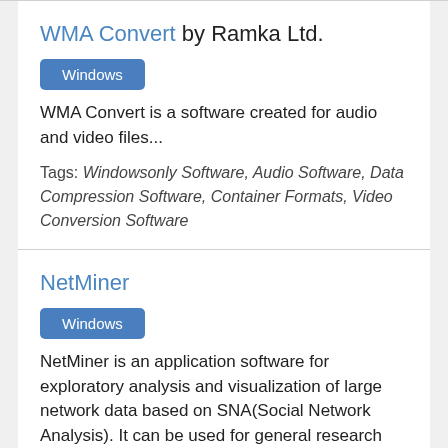WMA Convert by Ramka Ltd.
Windows
WMA Convert is a software created for audio and video files...
Tags: Windowsonly Software, Audio Software, Data Compression Software, Container Formats, Video Conversion Software
NetMiner
Windows
NetMiner is an application software for exploratory analysis and visualization of large network data based on SNA(Social Network Analysis). It can be used for general research and teaching in social...
Latest version of NetMiner is 4 and it was